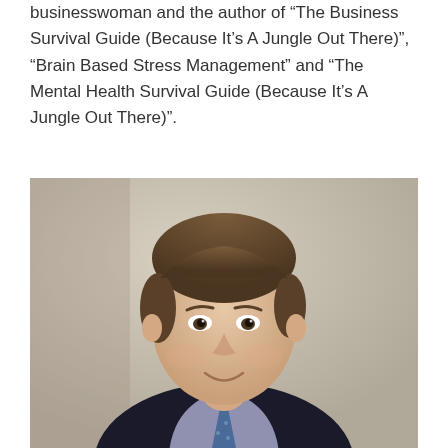businesswoman and the author of “The Business Survival Guide (Because It’s A Jungle Out There)”, “Brain Based Stress Management” and “The Mental Health Survival Guide (Because It’s A Jungle Out There)”.
[Figure (photo): Portrait photograph of a middle-aged man with short brown hair, wearing a dark suit jacket, light purple/lavender shirt, and a blue patterned tie, smiling slightly, photographed against a light beige/grey background.]